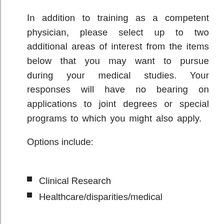In addition to training as a competent physician, please select up to two additional areas of interest from the items below that you may want to pursue during your medical studies. Your responses will have no bearing on applications to joint degrees or special programs to which you might also apply.
Options include:
Clinical Research
Healthcare/disparities/medical